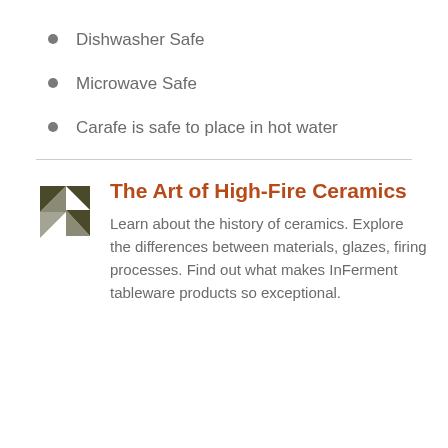Dishwasher Safe
Microwave Safe
Carafe is safe to place in hot water
[Figure (logo): InFerment logo consisting of dark olive/brown triangular arrow shapes arranged in a pinwheel pattern]
The Art of High-Fire Ceramics
Learn about the history of ceramics. Explore the differences between materials, glazes, firing processes. Find out what makes InFerment tableware products so exceptional.